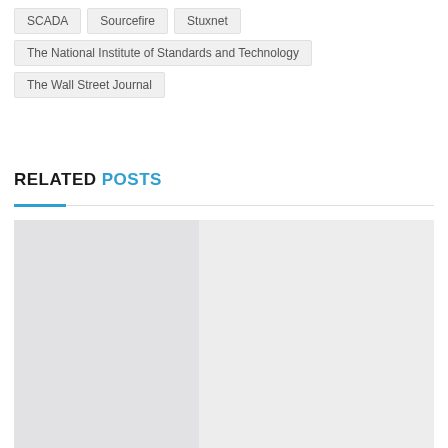SCADA
Sourcefire
Stuxnet
The National Institute of Standards and Technology
The Wall Street Journal
RELATED POSTS
[Figure (photo): Related posts image placeholder with light gray background]